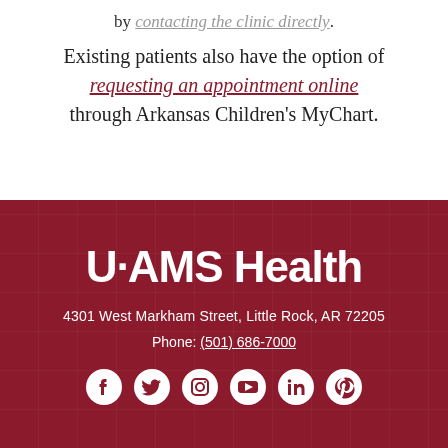by contacting the clinic directly.
Existing patients also have the option of requesting an appointment online through Arkansas Children's MyChart.
[Figure (logo): UAMS Health logo in white text on dark red background]
4301 West Markham Street, Little Rock, AR 72205
Phone: (501) 686-7000
[Figure (infographic): Social media icons: Facebook, Twitter, Instagram, YouTube, LinkedIn, Pinterest — white icons on dark red background]